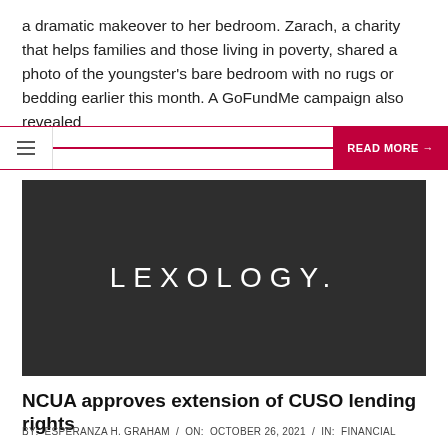a dramatic makeover to her bedroom. Zarach, a charity that helps families and those living in poverty, shared a photo of the youngster's bare bedroom with no rugs or bedding earlier this month. A GoFundMe campaign also revealed
[Figure (screenshot): Navigation bar with hamburger menu icon on the left, a crimson horizontal line, and a READ MORE → button on the right with crimson background]
[Figure (logo): Lexology logo — white text 'LEXOLOGY.' on a dark charcoal background]
NCUA approves extension of CUSO lending rights
BY: ESPERANZA H. GRAHAM / ON: OCTOBER 26, 2021 / IN: FINANCIAL